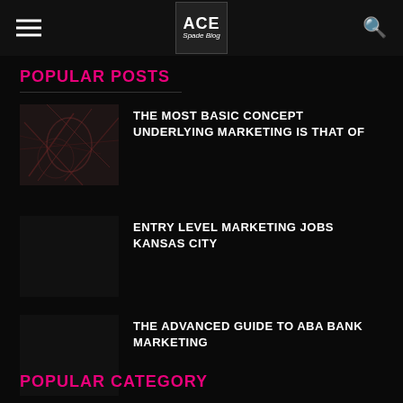ACE Spade Blog
POPULAR POSTS
[Figure (photo): Dark thumbnail image with abstract reddish sketch/drawing pattern]
THE MOST BASIC CONCEPT UNDERLYING MARKETING IS THAT OF
ENTRY LEVEL MARKETING JOBS KANSAS CITY
THE ADVANCED GUIDE TO ABA BANK MARKETING
POPULAR CATEGORY